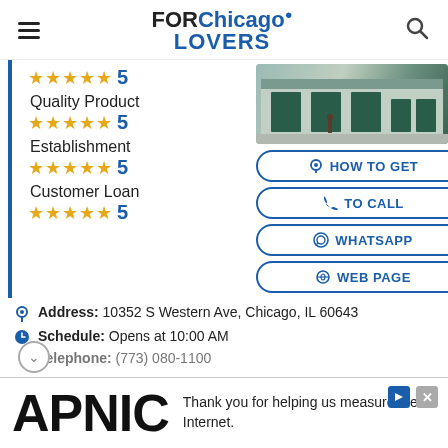FOR Chicago LOVERS
★★★★★ 5
Quality Product ★★★★★ 5
Establishment ★★★★★ 5
Customer Loan ★★★★★ 5
[Figure (photo): Photo of a building storefront on a street]
HOW TO GET
TO CALL
WHATSAPP
WEB PAGE
Address: 10352 S Western Ave, Chicago, IL 60643
Schedule: Opens at 10:00 AM
Telephone: (773) 080-1100
APNIC — Thank you for helping us measure the Internet.